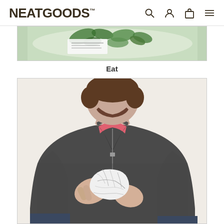NEATGOODS™
[Figure (photo): Partial view of a bowl with green herbs/food, shown as a cropped image strip at the top]
Eat
[Figure (photo): A man wearing a dark grey quarter-zip fleece over a pink shirt, holding a crumpled white paper/wrapper in both hands. His face is cropped out of frame.]